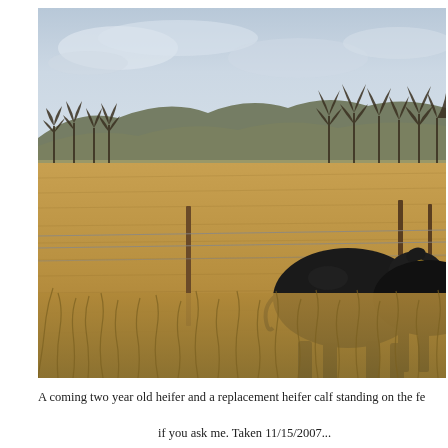[Figure (photo): A photograph of a winter rangeland scene showing dry golden grass, a barbed wire fence with wooden posts, rolling hills and bare trees in the background under a cloudy sky, and two black cattle (a coming two year old heifer and a replacement heifer calf) standing near the fence on the right side of the frame.]
A coming two year old heifer and a replacement heifer calf standing on the fe... if you ask me. Taken 11/15/2007...